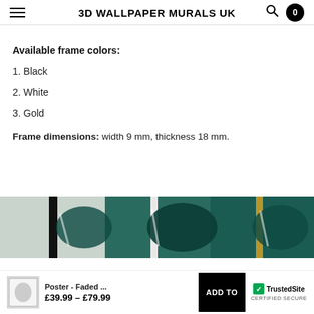3D WALLPAPER MURALS UK
Available frame colors:
1. Black
2. White
3. Gold
Frame dimensions: width 9 mm, thickness 18 mm.
[Figure (photo): Three framed posters side by side showing black, white, and gold frame options with tropical leaf artwork]
Poster - Faded ... £39.99 – £79.99
ADD TO
TrustedSite CERTIFIED SECURE